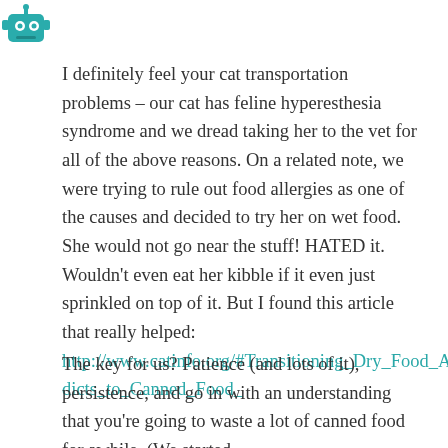[Figure (illustration): Teal robot/avatar icon in top left corner with partial header text showing date/time]
I definitely feel your cat transportation problems – our cat has feline hyperesthesia syndrome and we dread taking her to the vet for all of the above reasons. On a related note, we were trying to rule out food allergies as one of the causes and decided to try her on wet food. She would not go near the stuff! HATED it. Wouldn't even eat her kibble if it even just sprinkled on top of it. But I found this article that really helped: http://www.catinfo.org/#Transitioning_Dry_Food_Addicts_to_Canned_Food_
The key for us? Patience (and lots of it), persistence, and go in with an understanding that you're going to waste a lot of canned food for awhile. (We started